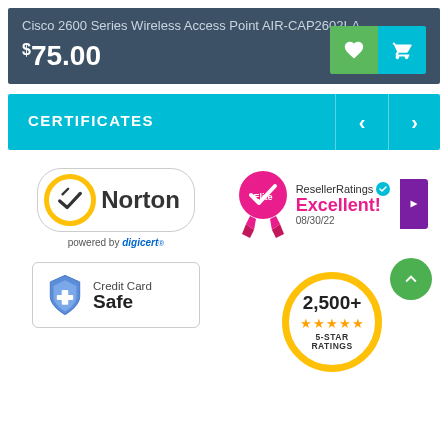Cisco 2600 Series Wireless Access Point AIR-CAP2602I-A-
$75.00
CERTIFICATES
[Figure (logo): Norton powered by digicert logo — yellow circle with checkmark, Norton text, 'powered by digicert' below]
[Figure (logo): ResellerRatings Excellent! badge with pink ribbon and Elite text, date 08/30/22]
[Figure (logo): Green circle with up chevron arrow]
[Figure (logo): Credit Card Safe badge with blue shield icon]
[Figure (infographic): 2,500+ 5-star ratings badge with gold stars inside yellow/gold circle]